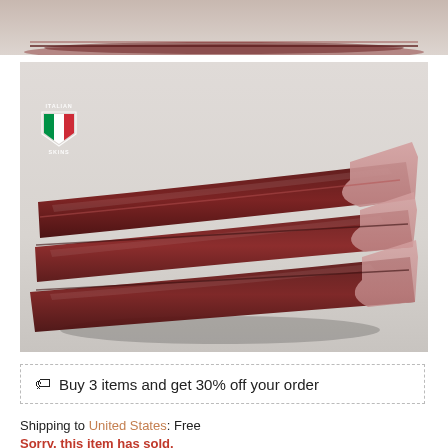[Figure (photo): Top partial strip of a product photo showing rolled dark brown/burgundy leather hides on a light grey background]
[Figure (photo): Main product photo: multiple dark burgundy/maroon rolled Italian leather hides laid diagonally on a light grey background. Watermark logo reading 'ITALIAN SKINS' with Italian flag emblem on the left side.]
Buy 3 items and get 30% off your order
Shipping to United States: Free
Sorry, this item has sold.